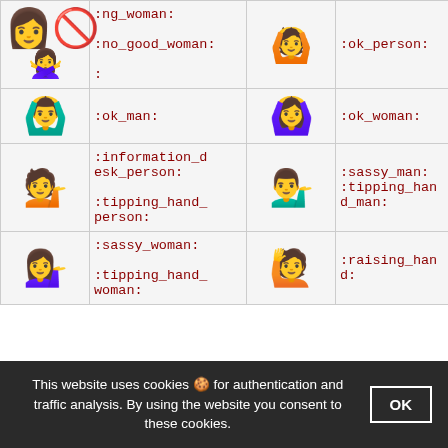| [woman_gesturing_no emoji] | :ng_woman:
:no_good_woman:
: | [ok person emoji] | :ok_person: |
| [ok man emoji] | :ok_man: | [ok woman emoji] | :ok_woman: |
| [information desk person emoji] | :information_desk_person:
:tipping_hand_person: | [tipping hand man emoji] | :sassy_man:
:tipping_hand_man: |
| [sassy woman emoji] | :sassy_woman:
:tipping_hand_woman: | [raising hand emoji] | :raising_hand: |
This website uses cookies 🍪 for authentication and traffic analysis. By using the website you consent to these cookies.